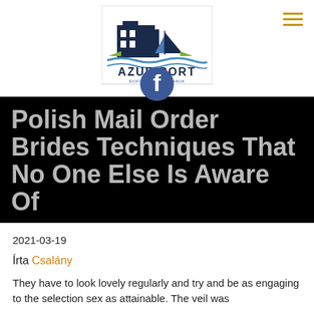[Figure (logo): Azur Port logo with sailboat and building silhouettes, green wave and blue water, text 'AZUR PORT SIOFOKI NYARALOMANOK', with a Facebook icon overlay at bottom center]
Polish Mail Order Brides Techniques That No One Else Is Aware Of
2021-03-19
Írta Csalány
They have to look lovely regularly and try and be as engaging to the selection sex as attainable. The veil was